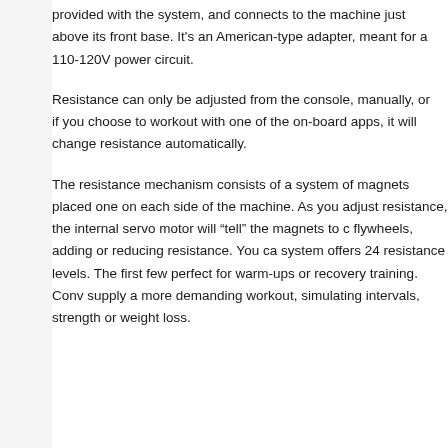provided with the system, and connects to the machine just above its front base. It's an American-type adapter, meant for a 110-120V power circuit.
Resistance can only be adjusted from the console, manually, or if you choose to workout with one of the on-board apps, it will change resistance automatically.
The resistance mechanism consists of a system of magnets placed one on each side of the machine. As you adjust resistance, the internal servo motor will “tell” the magnets to c flywheels, adding or reducing resistance. You ca system offers 24 resistance levels. The first few perfect for warm-ups or recovery training. Conv supply a more demanding workout, simulating intervals, strength or weight loss.